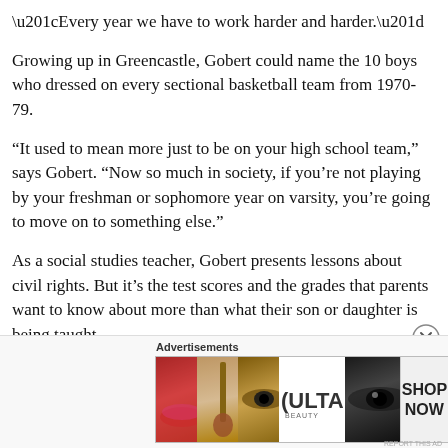“Every year we have to work harder and harder.”
Growing up in Greencastle, Gobert could name the 10 boys who dressed on every sectional basketball team from 1970-79.
“It used to mean more just to be on your high school team,” says Gobert. “Now so much in society, if you’re not playing by your freshman or sophomore year on varsity, you’re going to move on to something else.”
As a social studies teacher, Gobert presents lessons about civil rights. But it’s the test scores and the grades that parents want to know about more than what their son or daughter is being taught.
[Figure (other): Advertisement banner for ULTA Beauty showing close-up images of lips, makeup brush, eye with eyeshadow, ULTA logo, eyes, and a SHOP NOW call-to-action button.]